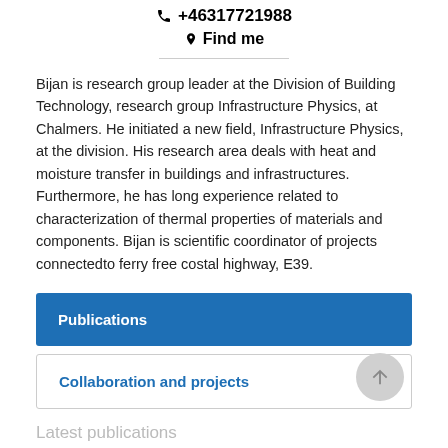+46317721988
Find me
Bijan is research group leader at the Division of Building Technology, research group Infrastructure Physics, at Chalmers. He initiated a new field, Infrastructure Physics, at the division. His research area deals with heat and moisture transfer in buildings and infrastructures. Furthermore, he has long experience related to characterization of thermal properties of materials and components. Bijan is scientific coordinator of projects connectedto ferry free costal highway, E39.
Publications
Collaboration and projects
Latest publications